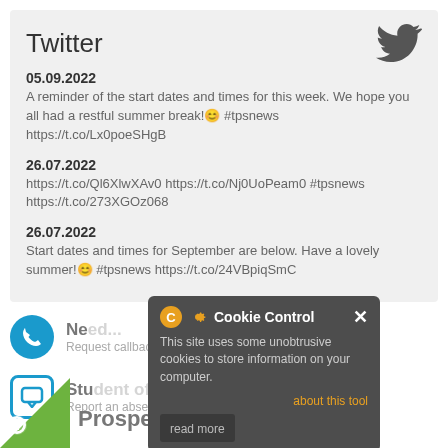Twitter
05.09.2022
A reminder of the start dates and times for this week. We hope you all had a restful summer break!😊 #tpsnews https://t.co/Lx0poeSHgB
26.07.2022
https://t.co/Ql6XlwXAv0 https://t.co/Nj0UoPeam0 #tpsnews https://t.co/273XGOz068
26.07.2022
Start dates and times for September are below. Have a lovely summer!😊 #tpsnews https://t.co/24VBpiqSmC
[Figure (screenshot): Cookie Control popup overlay with orange C gear icon, title 'Cookie Control', close X, body text about unobtrusive cookies, 'about this tool' link, and 'read more' button]
Need...
Request callback
Student off school?
Report an absence
Prospectus